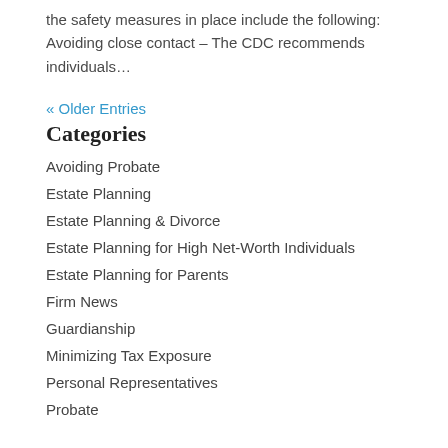the safety measures in place include the following: Avoiding close contact – The CDC recommends individuals…
« Older Entries
Categories
Avoiding Probate
Estate Planning
Estate Planning & Divorce
Estate Planning for High Net-Worth Individuals
Estate Planning for Parents
Firm News
Guardianship
Minimizing Tax Exposure
Personal Representatives
Probate